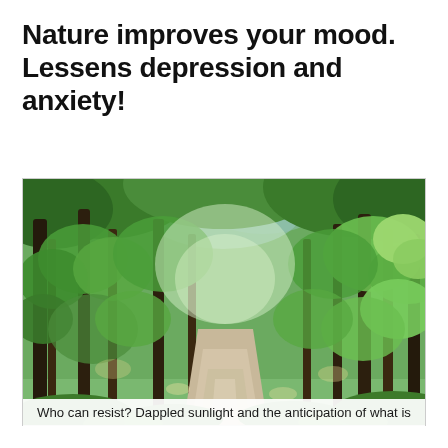Nature improves your mood. Lessens depression and anxiety!
[Figure (photo): A sunlit forest path winding through dense green trees, with dappled light filtering through the canopy overhead.]
Who can resist? Dappled sunlight and the anticipation of what is